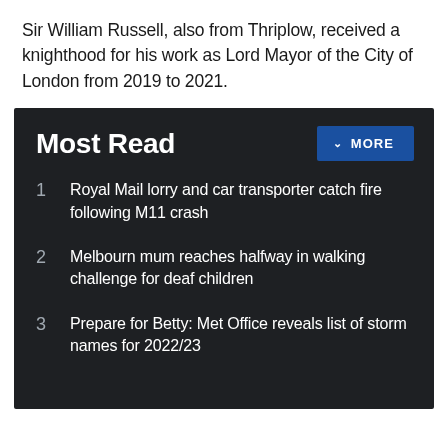Sir William Russell, also from Thriplow, received a knighthood for his work as Lord Mayor of the City of London from 2019 to 2021.
Most Read
Royal Mail lorry and car transporter catch fire following M11 crash
Melbourn mum reaches halfway in walking challenge for deaf children
Prepare for Betty: Met Office reveals list of storm names for 2022/23